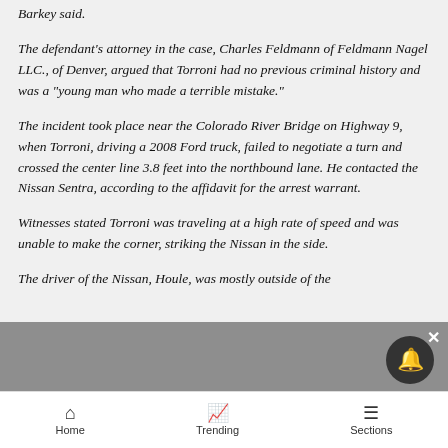Barkey said.
The defendant's attorney in the case, Charles Feldmann of Feldmann Nagel LLC., of Denver, argued that Torroni had no previous criminal history and was a "young man who made a terrible mistake."
The incident took place near the Colorado River Bridge on Highway 9, when Torroni, driving a 2008 Ford truck, failed to negotiate a turn and crossed the center line 3.8 feet into the northbound lane. He contacted the Nissan Sentra, according to the affidavit for the arrest warrant.
Witnesses stated Torroni was traveling at a high rate of speed and was unable to make the corner, striking the Nissan in the side.
The driver of the Nissan, Houle, was mostly outside of the
Home   Trending   Sections